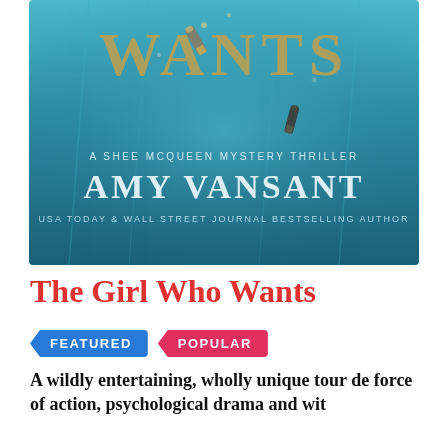[Figure (illustration): Book cover for 'The Girl Who Wants' by Amy Vansant — teal underwater background with bullet casings, gold serif text reading 'WANTS', subtitle 'A SHEE MCQUEEN MYSTERY THRILLER', author name 'AMY VANSANT', and tagline 'USA TODAY & WALL STREET JOURNAL BESTSELLING AUTHOR']
The Girl Who Wants
FEATURED
POPULAR
A wildly entertaining, wholly unique tour de force of action, psychological drama and wit from USA Today and Wall Street Journal...